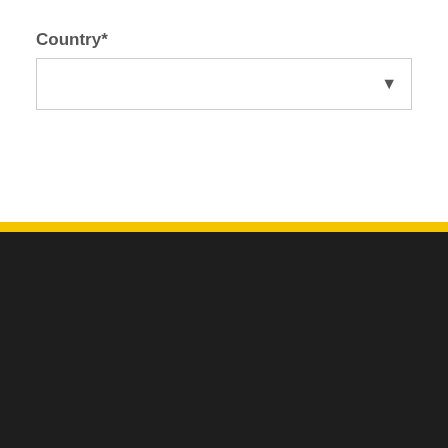Country*
[Figure (screenshot): Dropdown select box with a downward triangle arrow on the right side, empty/blank selection]
Publishers
Publisher Overview
Unified Auction
Adserver + SSP
Smart Formats Gallery
Video
Mobile
Demand
Demand Partners Overview
Smart Formats Gallery
Buying Methods
Quality for Demand Partners
DSP – LiquidM